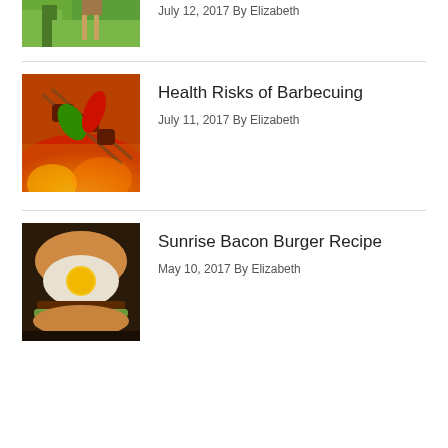[Figure (photo): Partial image of a grassy outdoor scene, cropped at top]
July 12, 2017 By Elizabeth
[Figure (photo): BBQ skewers with meat and peppers on flames]
Health Risks of Barbecuing
July 11, 2017 By Elizabeth
[Figure (photo): Sunrise Bacon Burger with egg on top]
Sunrise Bacon Burger Recipe
May 10, 2017 By Elizabeth